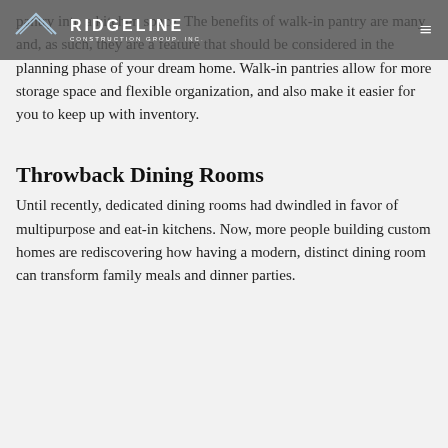RIDGELINE CONSTRUCTION GROUP, INC.
pantry into a kitchen space. The benefits of walk-in pantry are many and, as such, they are a feature that should be considered in the planning phase of your dream home. Walk-in pantries allow for more storage space and flexible organization, and also make it easier for you to keep up with inventory.
Throwback Dining Rooms
Until recently, dedicated dining rooms had dwindled in favor of multipurpose and eat-in kitchens. Now, more people building custom homes are rediscovering how having a modern, distinct dining room can transform family meals and dinner parties.